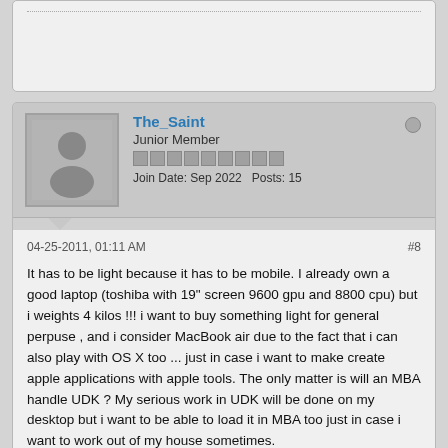[partial post text at top, cut off]
The_Saint
Junior Member
Join Date: Sep 2022   Posts: 15
04-25-2011, 01:11 AM
#8

It has to be light because it has to be mobile. I already own a good laptop (toshiba with 19" screen 9600 gpu and 8800 cpu) but i weights 4 kilos !!! i want to buy something light for general perpuse , and i consider MacBook air due to the fact that i can also play with OS X too ... just in case i want to make create apple applications with apple tools. The only matter is will an MBA handle UDK ? My serious work in UDK will be done on my desktop but i want to be able to load it in MBA too just in case i want to work out of my house sometimes.
TheAgent
Senior Member
Join Date: Sep 2022   Posts: 3578